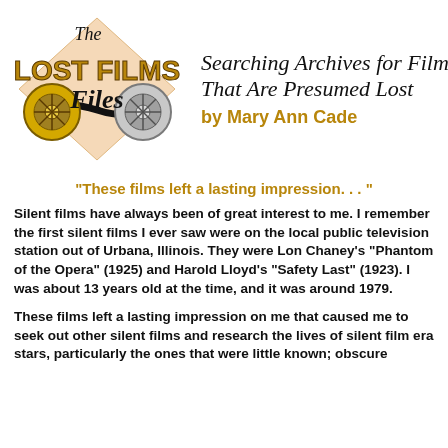[Figure (logo): The Lost Films Files logo with film reels and text]
Searching Archives for Films That Are Presumed Lost by Mary Ann Cade
"These films left a lasting impression. . . "
Silent films have always been of great interest to me. I remember the first silent films I ever saw were on the local public television station out of Urbana, Illinois. They were Lon Chaney's "Phantom of the Opera" (1925) and Harold Lloyd's "Safety Last" (1923). I was about 13 years old at the time, and it was around 1979.
These films left a lasting impression on me that caused me to seek out other silent films and research the lives of silent film era stars, particularly the ones that were little known; obscure